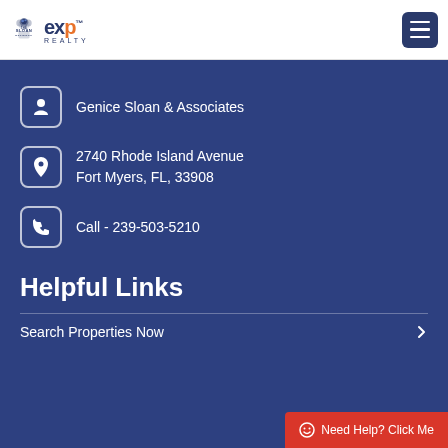The Sloan Network | eXp Realty
Genice Sloan & Associates
2740 Rhode Island Avenue
Fort Myers, FL, 33908
Call - 239-503-5210
Helpful Links
Search Properties Now
Need Help? Click Me